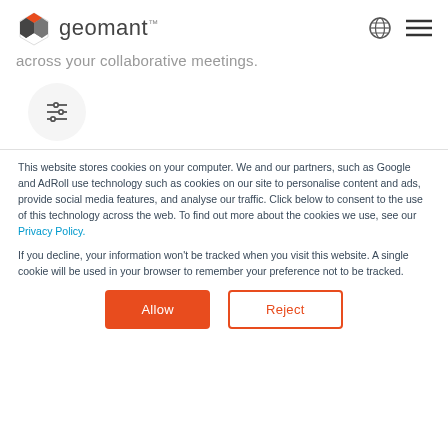geomant
across your collaborative meetings.
[Figure (logo): Settings/filter icon in a light grey circle]
This website stores cookies on your computer. We and our partners, such as Google and AdRoll use technology such as cookies on our site to personalise content and ads, provide social media features, and analyse our traffic. Click below to consent to the use of this technology across the web. To find out more about the cookies we use, see our Privacy Policy.
If you decline, your information won't be tracked when you visit this website. A single cookie will be used in your browser to remember your preference not to be tracked.
Allow
Reject